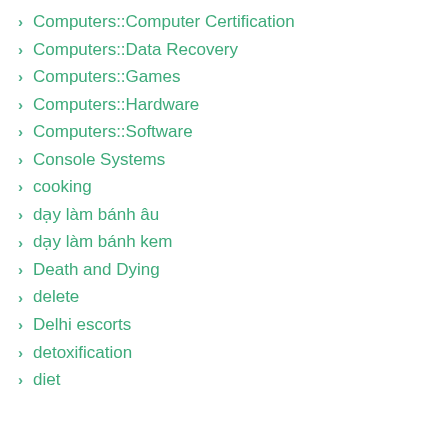Computers::Computer Certification
Computers::Data Recovery
Computers::Games
Computers::Hardware
Computers::Software
Console Systems
cooking
dạy làm bánh âu
dạy làm bánh kem
Death and Dying
delete
Delhi escorts
detoxification
diet